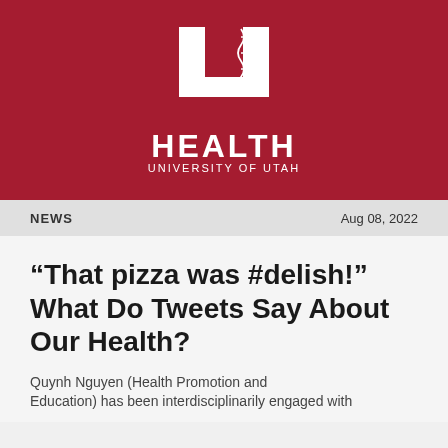[Figure (logo): University of Utah Health logo — white block letter U with DNA helix, HEALTH in bold white, UNIVERSITY OF UTAH below on dark red background]
NEWS    Aug 08, 2022
“That pizza was #delish!” What Do Tweets Say About Our Health?
Quynh Nguyen (Health Promotion and Education) has been interdisciplinarily engaged with